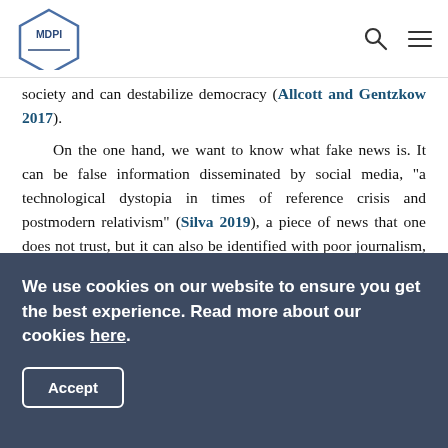MDPI [logo with search and menu icons]
society and can destabilize democracy (Allcott and Gentzkow 2017).
On the one hand, we want to know what fake news is. It can be false information disseminated by social media, "a technological dystopia in times of reference crisis and postmodern relativism" (Silva 2019), a piece of news that one does not trust, but it can also be identified with poor journalism, propaganda, advertising in general, and lies (Nielsen and Graves 2017).
On the other hand, we understand fake news in a frame of post-truth, a neologism created to name the social phenomenon developed on the Internet where false content is considered
We use cookies on our website to ensure you get the best experience. Read more about our cookies here.
Accept